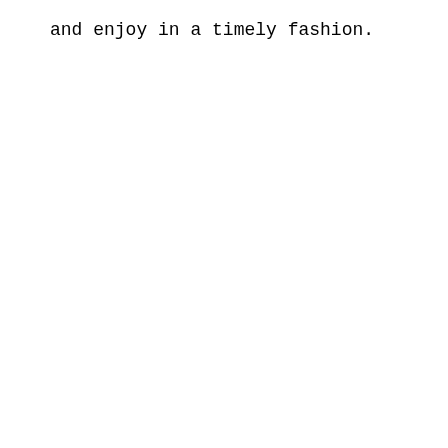and enjoy in a timely fashion.